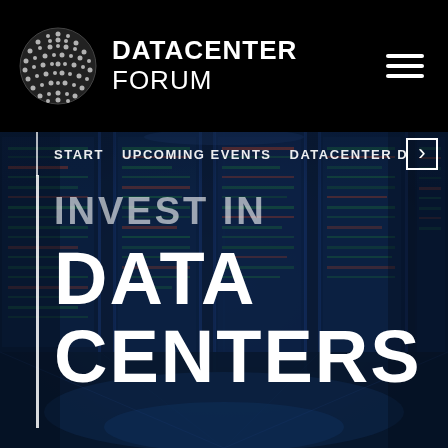DATACENTER FORUM
START   UPCOMING EVENTS   DATACENTER D ›
[Figure (photo): Blurred photo of a data center server room with rows of server racks illuminated by blue and green lighting, viewed from a corridor perspective]
INVEST IN DATA CENTERS